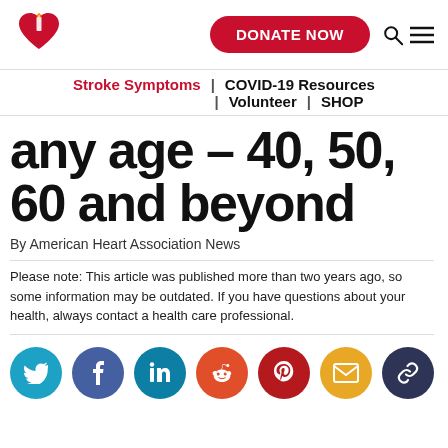[Figure (logo): American Heart Association logo - red heart with torch flame]
DONATE NOW
Stroke Symptoms | COVID-19 Resources | Volunteer | SHOP
any age – 40, 50, 60 and beyond
By American Heart Association News
Please note: This article was published more than two years ago, so some information may be outdated. If you have questions about your health, always contact a health care professional.
[Figure (infographic): Social media sharing icons: Twitter (teal), Facebook (blue), LinkedIn (teal), Reddit (orange-red), Pinterest (red), Email (yellow), Link (dark navy)]